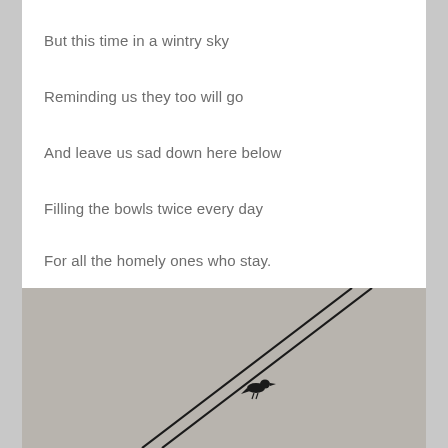But this time in a wintry sky
Reminding us they too will go
And leave us sad down here below
Filling the bowls twice every day
For all the homely ones who stay.
[Figure (photo): A bird perched on a diagonal power line or wire against a grey overcast sky. Two parallel diagonal lines run from lower-left to upper-right across the image, with a small dark bird silhouette visible near the center of the image.]